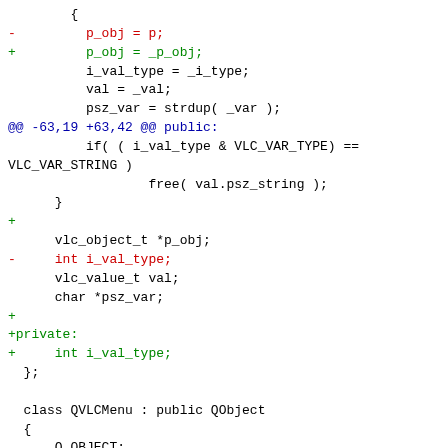Diff/patch code fragment showing changes to a C++ source file including constructor changes, member variable relocation, and QVLCMenu class definition additions.